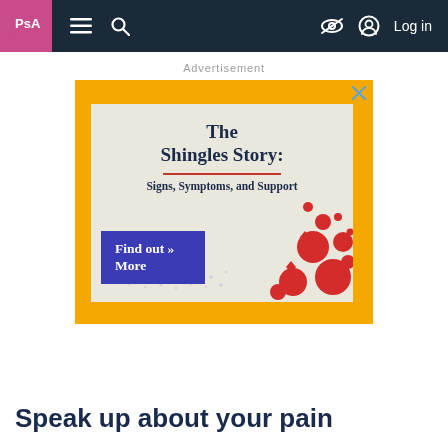PsA | Menu | Search | [accessibility] | Log in
Advertisement
[Figure (infographic): Advertisement banner for 'The Shingles Story: Signs, Symptoms, and Support' with a Find out More button, on a yellow background with red dot pattern]
Speak up about your pain